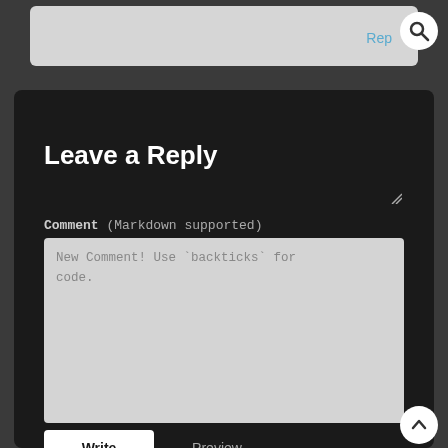[Figure (screenshot): Top search bar area with grey input box and circular search icon button]
Rep
Leave a Reply
Comment (Markdown supported)
New Comment! Use `backticks` for code.
Write
Preview
Name